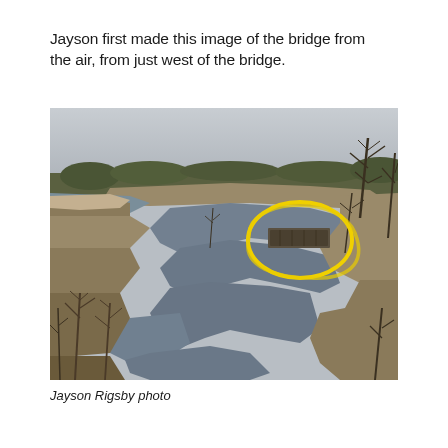Jayson first made this image of the bridge from the air, from just west of the bridge.
[Figure (photo): Aerial photo of a winding river with bare trees and brownish floodplain. A yellow hand-drawn circle highlights what appears to be a submerged or washed-out bridge structure in the mid-right portion of the image.]
Jayson Rigsby photo